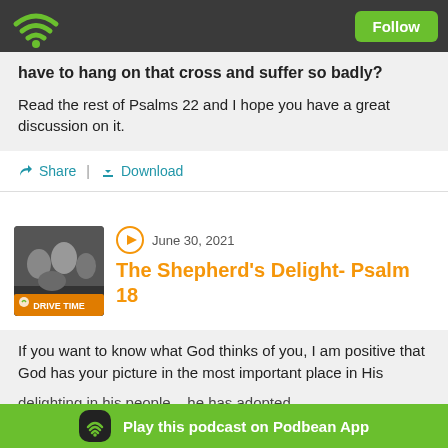Follow
have to hang on that cross and suffer so badly?
Read the rest of Psalms 22 and I hope you have a great discussion on it.
Share | Download
[Figure (photo): Drive Time podcast thumbnail showing people in a car]
June 30, 2021
The Shepherd's Delight- Psalm 18
If you want to know what God thinks of you, I am positive that God has your picture in the most important place in His delighting in his people – he has adopted
Play this podcast on Podbean App